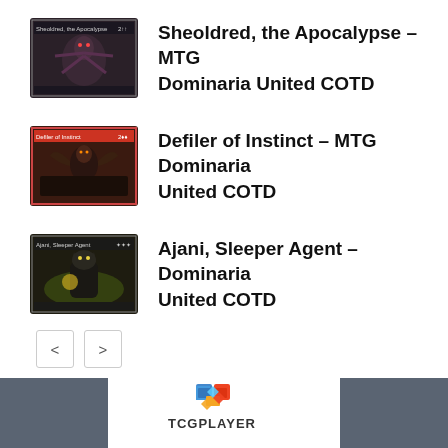[Figure (illustration): MTG card thumbnail: Sheoldred, the Apocalypse]
Sheoldred, the Apocalypse – MTG Dominaria United COTD
[Figure (illustration): MTG card thumbnail: Defiler of Instinct]
Defiler of Instinct – MTG Dominaria United COTD
[Figure (illustration): MTG card thumbnail: Ajani, Sleeper Agent]
Ajani, Sleeper Agent – Dominaria United COTD
[Figure (logo): TCGPlayer logo at page footer]